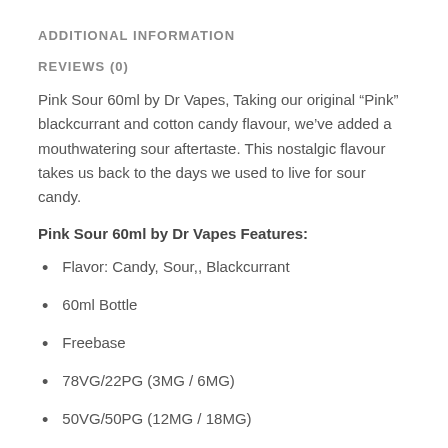ADDITIONAL INFORMATION
REVIEWS (0)
Pink Sour 60ml by Dr Vapes, Taking our original “Pink” blackcurrant and cotton candy flavour, we’ve added a mouthwatering sour aftertaste. This nostalgic flavour takes us back to the days we used to live for sour candy.
Pink Sour 60ml by Dr Vapes Features:
Flavor: Candy, Sour,, Blackcurrant
60ml Bottle
Freebase
78VG/22PG (3MG / 6MG)
50VG/50PG (12MG / 18MG)
Made in the UK